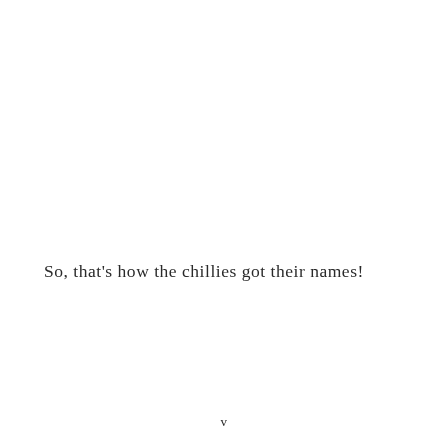So, that's how the chillies got their names!
v